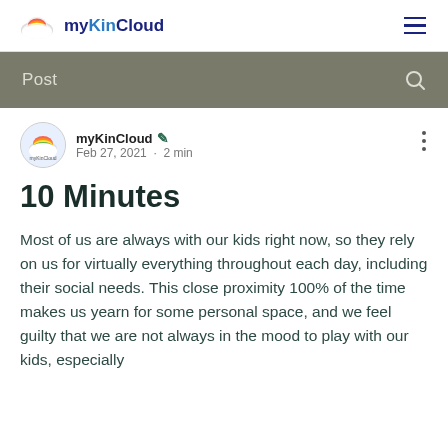myKinCloud
Post
myKinCloud ✏ Feb 27, 2021 · 2 min
10 Minutes
Most of us are always with our kids right now, so they rely on us for virtually everything throughout each day, including their social needs. This close proximity 100% of the time makes us yearn for some personal space, and we feel guilty that we are not always in the mood to play with our kids, especially